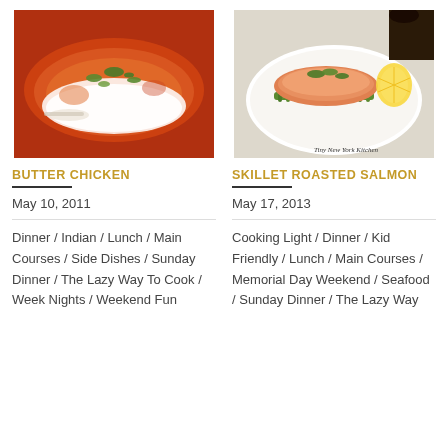[Figure (photo): Photo of butter chicken dish in a white oval bowl with orange-red curry sauce and green herbs]
BUTTER CHICKEN
May 10, 2011
Dinner / Indian / Lunch / Main Courses / Side Dishes / Sunday Dinner / The Lazy Way To Cook / Week Nights / Weekend Fun
[Figure (photo): Photo of skillet roasted salmon on a white plate with asparagus and lemon slices, watermark reads Tiny New York Kitchen]
SKILLET ROASTED SALMON
May 17, 2013
Cooking Light / Dinner / Kid Friendly / Lunch / Main Courses / Memorial Day Weekend / Seafood / Sunday Dinner / The Lazy Way